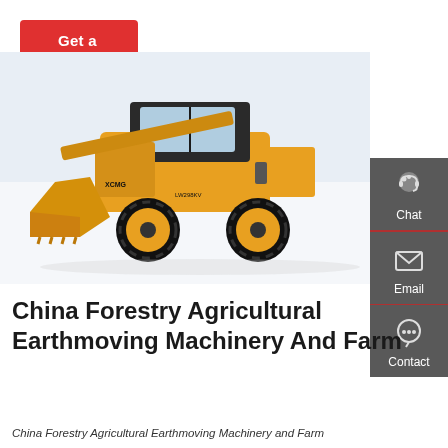Get a quote
[Figure (photo): Yellow front-end wheel loader (XCMG LW298KV) on white background, showing cab, large bucket, and heavy-duty tires]
[Figure (infographic): Dark grey sidebar with three icons and labels: Chat (headset icon), Email (envelope icon), Contact (speech bubble icon), separated by red horizontal lines]
China Forestry Agricultural Earthmoving Machinery And Farm
China Forestry Agricultural Earthmoving Machinery and Farm